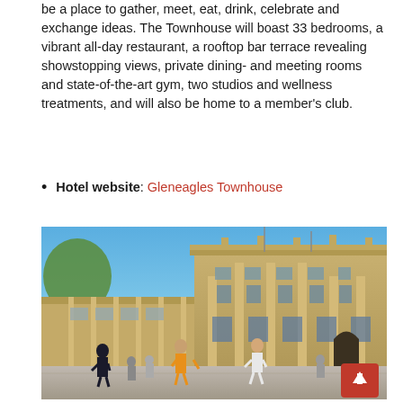be a place to gather, meet, eat, drink, celebrate and exchange ideas. The Townhouse will boast 33 bedrooms, a vibrant all-day restaurant, a rooftop bar terrace revealing showstopping views, private dining- and meeting rooms and state-of-the-art gym, two studios and wellness treatments, and will also be home to a member's club.
Hotel website: Gleneagles Townhouse
[Figure (photo): Street-level photograph of a grand neoclassical sandstone building (Gleneagles Townhouse) in Edinburgh, with pedestrians walking in the foreground, blue sky above, and a red scroll-to-top button in the bottom-right corner.]